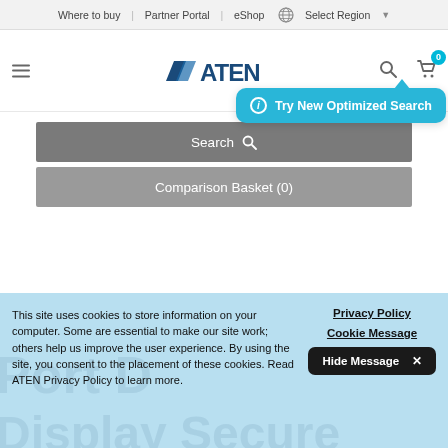Where to buy | Partner Portal | eShop  Select Region
[Figure (logo): ATEN logo with search icon, hamburger menu, and cart icon with badge '0']
[Figure (screenshot): Tooltip bubble: 'Try New Optimized Search' in cyan/blue rounded rectangle with info icon]
Search
Comparison Basket (0)
This site uses cookies to store information on your computer. Some are essential to make our site work; others help us improve the user experience. By using the site, you consent to the placement of these cookies. Read ATEN Privacy Policy to learn more.
Privacy Policy
Cookie Message
Hide Message ✕